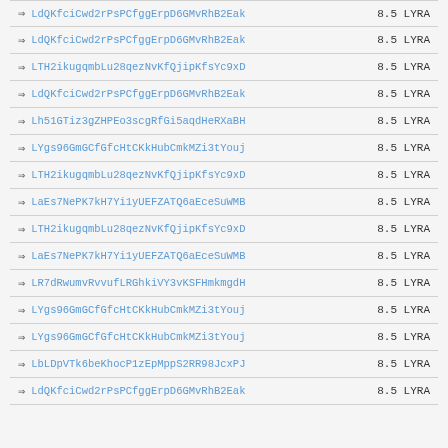→ LdQKfciCwd2rPsPCfggErpD6GMvRhB2Eak  8.5 LYRA
→ LdQKfciCwd2rPsPCfggErpD6GMvRhB2Eak  8.5 LYRA
→ LTH2ikugqmbLu28qezNvKfQjipKfsYc9xD  8.5 LYRA
→ LdQKfciCwd2rPsPCfggErpD6GMvRhB2Eak  8.5 LYRA
→ Lh51GTiz3gZHPEo3scgRfGi5aqdHeRXaBH  8.5 LYRA
→ LYgs96GmGCfGfcHtCKkHubCmkMZi3tYouj  8.5 LYRA
→ LTH2ikugqmbLu28qezNvKfQjipKfsYc9xD  8.5 LYRA
→ LaEs7NePK7kH7Yi1yUEFZATQ6aEceSuWMB  8.5 LYRA
→ LTH2ikugqmbLu28qezNvKfQjipKfsYc9xD  8.5 LYRA
→ LaEs7NePK7kH7Yi1yUEFZATQ6aEceSuWMB  8.5 LYRA
→ LR7dRwumvRvvufLRGhkiVY3vKSFHmkmgdH  8.5 LYRA
→ LYgs96GmGCfGfcHtCKkHubCmkMZi3tYouj  8.5 LYRA
→ LYgs96GmGCfGfcHtCKkHubCmkMZi3tYouj  8.5 LYRA
→ LbLDpVTk6beKhocP1zEpMppS2RR98JcxPJ  8.5 LYRA
→ LdQKfciCwd2rPsPCfggErpD6GMvRhB2Eak  8.5 LYRA